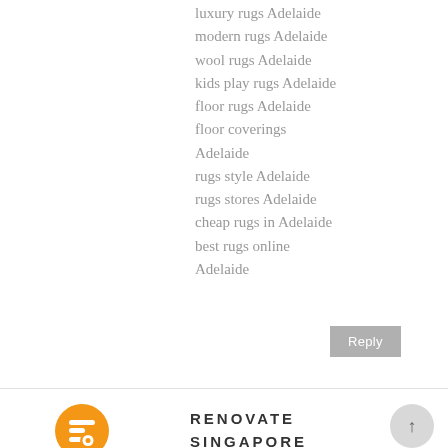luxury rugs Adelaide
modern rugs Adelaide
wool rugs Adelaide
kids play rugs Adelaide
floor rugs Adelaide
floor coverings Adelaide
rugs style Adelaide
rugs stores Adelaide
cheap rugs in Adelaide
best rugs online Adelaide
Reply
[Figure (logo): Blogger orange circular logo icon]
RENOVATE SINGAPORE